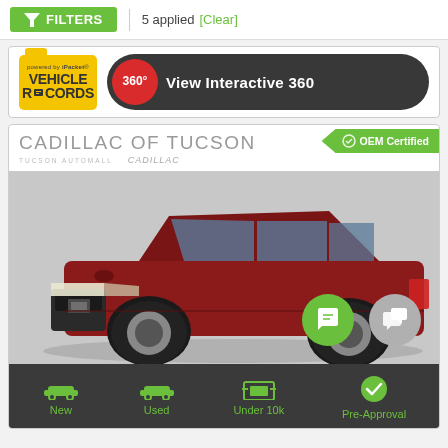FILTERS | 5 applied [Clear]
[Figure (logo): iPacket Vehicle Records logo with 360 degree View Interactive 360 button]
[Figure (photo): Cadillac of Tucson dealer listing card showing a dark red Cadillac SUV with OEM Certified badge, chat buttons, and bottom navigation with New, Used, Under 10k, Pre-Approval options]